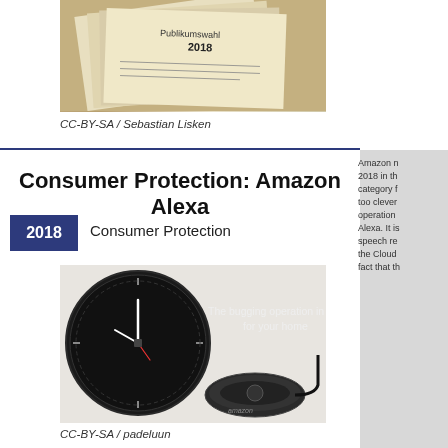[Figure (photo): Photo of ballot papers with '2018 Publikumswahl' text visible]
CC-BY-SA / Sebastian Lisken
Consumer Protection: Amazon Alexa
2018
Consumer Protection
[Figure (photo): Photo of Amazon Echo Dot and Amazon Echo Wall Clock with text overlay 'The bugging operation in a can for your home']
CC-BY-SA / padeluun
Amazon n... 2018 in th... category f... too clever... operation... Alexa. It is... speech re... the Cloud... fact that th...